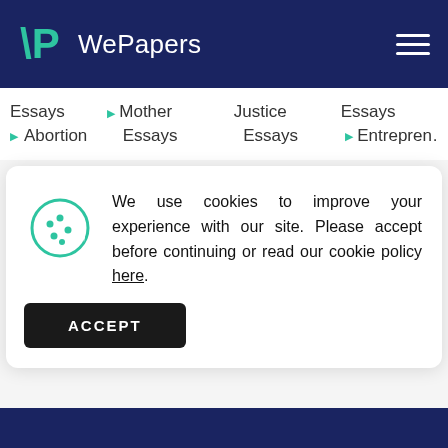WePapers
Essays
▶ Mother Essays
Justice Essays
Essays
▶ Abortion
Essays
▶ Entrepreneur
We use cookies to improve your experience with our site. Please accept before continuing or read our cookie policy here.
ACCEPT